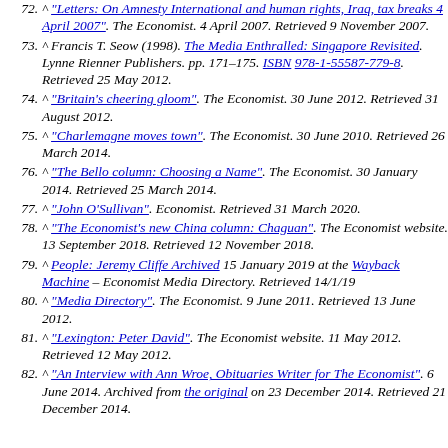72. ^ "Letters: On Amnesty International and human rights, Iraq, tax breaks 4 April 2007". The Economist. 4 April 2007. Retrieved 9 November 2007.
73. ^ Francis T. Seow (1998). The Media Enthralled: Singapore Revisited. Lynne Rienner Publishers. pp. 171–175. ISBN 978-1-55587-779-8. Retrieved 25 May 2012.
74. ^ "Britain's cheering gloom". The Economist. 30 June 2012. Retrieved 31 August 2012.
75. ^ "Charlemagne moves town". The Economist. 30 June 2010. Retrieved 26 March 2014.
76. ^ "The Bello column: Choosing a Name". The Economist. 30 January 2014. Retrieved 25 March 2014.
77. ^ "John O'Sullivan". Economist. Retrieved 31 March 2020.
78. ^ "The Economist's new China column: Chaguan". The Economist website. 13 September 2018. Retrieved 12 November 2018.
79. ^ People: Jeremy Cliffe Archived 15 January 2019 at the Wayback Machine – Economist Media Directory. Retrieved 14/1/19
80. ^ "Media Directory". The Economist. 9 June 2011. Retrieved 13 June 2012.
81. ^ "Lexington: Peter David". The Economist website. 11 May 2012. Retrieved 12 May 2012.
82. ^ "An Interview with Ann Wroe, Obituaries Writer for The Economist". 6 June 2014. Archived from the original on 23 December 2014. Retrieved 21 December 2014.